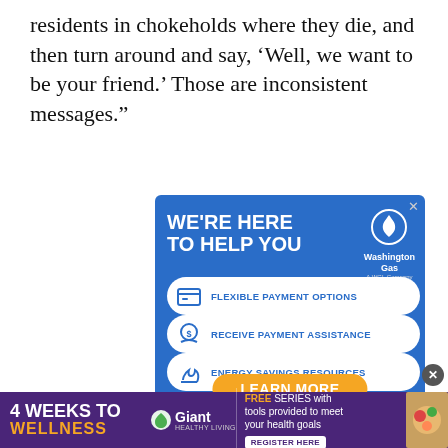residents in chokeholds where they die, and then turn around and say, ‘Well, we want to be your friend.’ Those are inconsistent messages.”
[Figure (infographic): Washington Gas advertisement with blue background. Headline: WE'RE HERE TO HELP YOU. Three white pill-shaped buttons: FLEXIBLE PAYMENT OPTIONS, RECEIVE PAYMENT ASSISTANCE, ENERGY SAVINGS RESOURCES. Orange button: LEARN MORE. Washington Gas logo with flame icon top right.]
[Figure (infographic): 4 WEEKS TO WELLNESS advertisement banner in purple. Giant Healthy Living logo. Text: FREE SERIES with tools provided to meet your health goals. REGISTER HERE button.]